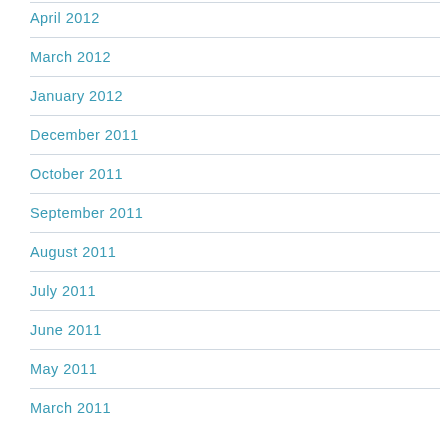April 2012
March 2012
January 2012
December 2011
October 2011
September 2011
August 2011
July 2011
June 2011
May 2011
March 2011